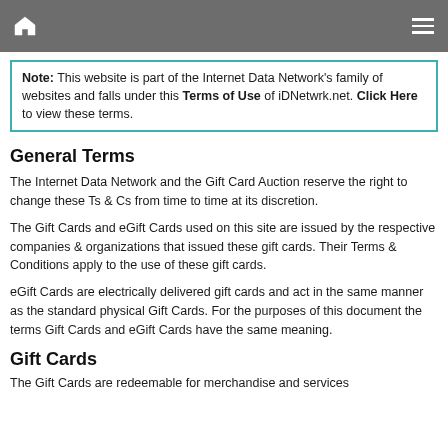Note: This website is part of the Internet Data Network's family of websites and falls under this Terms of Use of iDNetwrk.net. Click Here to view these terms.
General Terms
The Internet Data Network and the Gift Card Auction reserve the right to change these Ts & Cs from time to time at its discretion.
The Gift Cards and eGift Cards used on this site are issued by the respective companies & organizations that issued these gift cards. Their Terms & Conditions apply to the use of these gift cards.
eGift Cards are electrically delivered gift cards and act in the same manner as the standard physical Gift Cards. For the purposes of this document the terms Gift Cards and eGift Cards have the same meaning.
Gift Cards
The Gift Cards are redeemable for merchandise and services